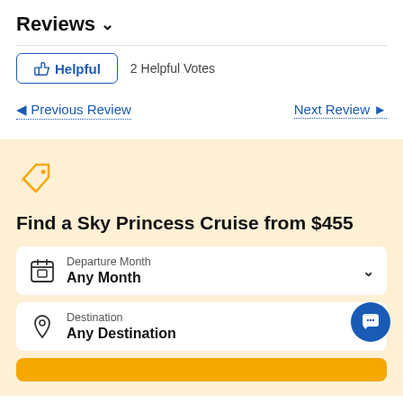Reviews ∨
👍 Helpful   2 Helpful Votes
◄ Previous Review   Next Review ►
[Figure (screenshot): Promotional booking widget on beige background with price tag icon, title 'Find a Sky Princess Cruise from $455', departure month dropdown showing 'Any Month', destination dropdown showing 'Any Destination', and a yellow search button.]